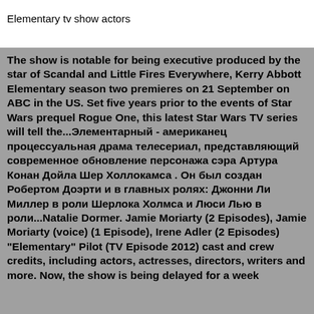Elementary tv show actors
The show is notable for being executive produced by the star of Scandal and Little Fires Everywhere, Kerry Abbott Elementary season two premieres on 21 September on ABC in the US. Set five years prior to the events of Star Wars prequel Rogue One, this latest Star Wars TV series will tell the...Элементарный - американец процессуальная драма телесериал, представляющий современное обновление персонажа сэра Артура Конан Дойла Шер Холлокамса . Он был создан Робертом Доэрти и в главных ролях: Джонни Ли Миллер в роли Шерлока Холмса и Люси Лью в роли...Natalie Dormer. Jamie Moriarty (2 Episodes), Jamie Moriarty (voice) (1 Episode), Irene Adler (2 Episodes) "Elementary" Pilot (TV Episode 2012) cast and crew credits, including actors, actresses, directors, writers and more. Now, the show is being delayed for a week